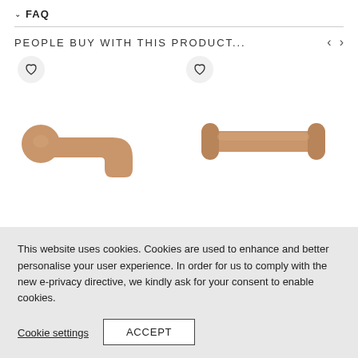✓ FAQ
PEOPLE BUY WITH THIS PRODUCT...
[Figure (photo): Two copper/rose gold bathroom fittings: a wall-mounted basin spout tap on the left, and a toilet roll holder on the right. Both products shown with heart/wishlist icons.]
This website uses cookies. Cookies are used to enhance and better personalise your user experience. In order for us to comply with the new e-privacy directive, we kindly ask for your consent to enable cookies.
Cookie settings
ACCEPT